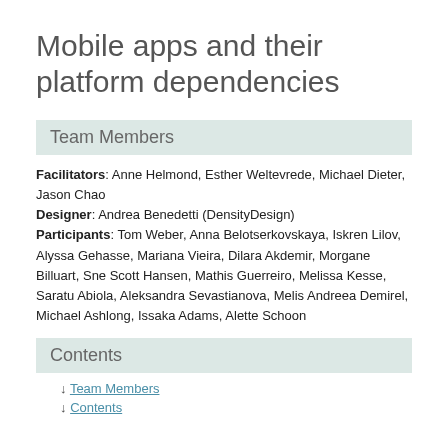Mobile apps and their platform dependencies
Team Members
Facilitators: Anne Helmond, Esther Weltevrede, Michael Dieter, Jason Chao
Designer: Andrea Benedetti (DensityDesign)
Participants: Tom Weber, Anna Belotserkovskaya, Iskren Lilov, Alyssa Gehasse, Mariana Vieira, Dilara Akdemir, Morgane Billuart, Sne Scott Hansen, Mathis Guerreiro, Melissa Kesse, Saratu Abiola, Aleksandra Sevastianova, Melis Andreea Demirel, Michael Ashlong, Issaka Adams, Alette Schoon
Contents
Team Members
Contents